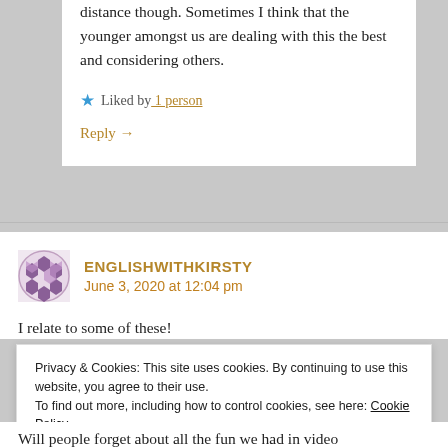distance though. Sometimes I think that the younger amongst us are dealing with this the best and considering others.
Liked by 1 person
Reply →
ENGLISHWITHKIRSTY
June 3, 2020 at 12:04 pm
I relate to some of these!
Privacy & Cookies: This site uses cookies. By continuing to use this website, you agree to their use.
To find out more, including how to control cookies, see here: Cookie Policy
Close and accept
Will people forget about all the fun we had in video